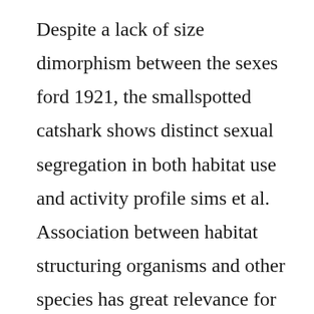Despite a lack of size dimorphism between the sexes ford 1921, the smallspotted catshark shows distinct sexual segregation in both habitat use and activity profile sims et al. Association between habitat structuring organisms and other species has great relevance for ecosystembased conservation measures. This thesis was submitted for the degree of doctor of philosophy and awarded by the university of wales. Squalus canicula other names i scyliorhinus canicula linnaeus, 1758 scyliorhinus caniculus smaller spotted